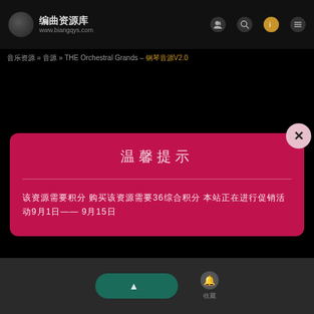编曲资源库 www.biangqys.com
音乐资源 » 音源 » THE Orchestral Grands – 钢琴音源V2.0
温馨提示
该资源需要积分 购买该资源需要36综合积分 本站正在进行促销活动9月1日—— 9月15日